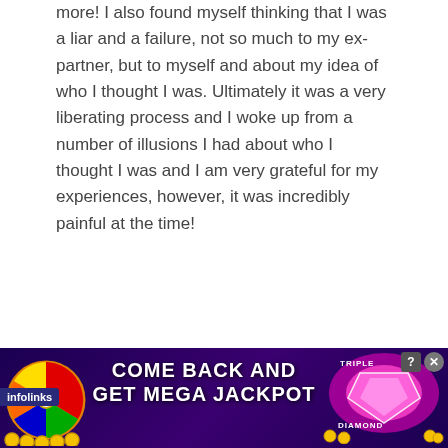more! I also found myself thinking that I was a liar and a failure, not so much to my ex-partner, but to myself and about my idea of who I thought I was. Ultimately it was a very liberating process and I woke up from a number of illusions I had about who I thought I was and I am very grateful for my experiences, however, it was incredibly painful at the time!
REPLY
[Figure (photo): Circular avatar of The Daily Minder commenter on a dark background]
THE DAILY MINDER
NOVEMBER 14, 2008 AT
[Figure (infographic): Advertisement banner: 'COME BACK AND GET MEGA JACKPOT' with slot machine wheel graphics, Triple Diamond branding, purple background, gold coins. Infolinks badge on left. Close button top right.]